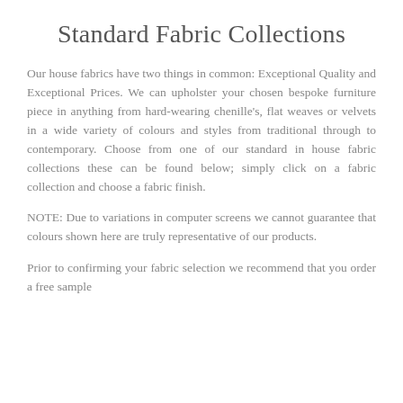Standard Fabric Collections
Our house fabrics have two things in common: Exceptional Quality and Exceptional Prices. We can upholster your chosen bespoke furniture piece in anything from hard-wearing chenille's, flat weaves or velvets in a wide variety of colours and styles from traditional through to contemporary. Choose from one of our standard in house fabric collections these can be found below; simply click on a fabric collection and choose a fabric finish.
NOTE: Due to variations in computer screens we cannot guarantee that colours shown here are truly representative of our products.
Prior to confirming your fabric selection we recommend that you order a free sample